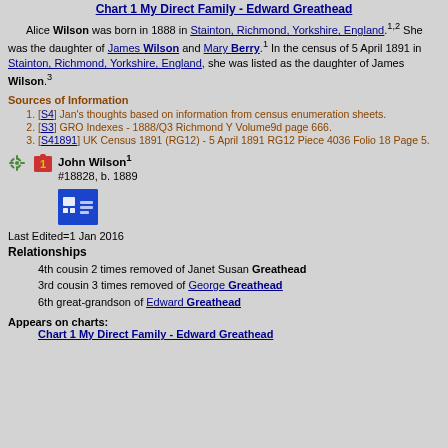Chart 1 My Direct Family - Edward Greathead
Alice Wilson was born in 1888 in Stainton, Richmond, Yorkshire, England.1,2 She was the daughter of James Wilson and Mary Berry.1 In the census of 5 April 1891 in Stainton, Richmond, Yorkshire, England, she was listed as the daughter of James Wilson.3
Sources of Information
[S4] Jan's thoughts based on information from census enumeration sheets.
[S3] GRO Indexes - 1888/Q3 Richmond Y Volume9d page 666.
[S41891] UK Census 1891 (RG12) - 5 April 1891 RG12 Piece 4036 Folio 18 Page 5.
John Wilson1 #18828, b. 1889
Last Edited=1 Jan 2016
Relationships
4th cousin 2 times removed of Janet Susan Greathead
3rd cousin 3 times removed of George Greathead
6th great-grandson of Edward Greathead
Appears on charts:
Chart 1 My Direct Family - Edward Greathead